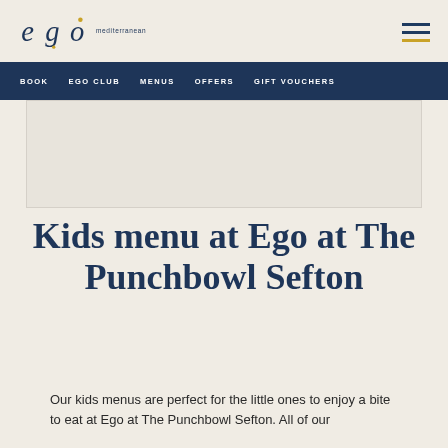ego mediterranean — navigation: BOOK, EGO CLUB, MENUS, OFFERS, GIFT VOUCHERS
[Figure (logo): Ego Mediterranean restaurant logo with stylized lowercase 'ego' text and 'mediterranean' subtitle, plus hamburger menu icon]
[Figure (photo): Restaurant interior or food image placeholder area]
Kids menu at Ego at The Punchbowl Sefton
Our kids menus are perfect for the little ones to enjoy a bite to eat at Ego at The Punchbowl Sefton. All of our